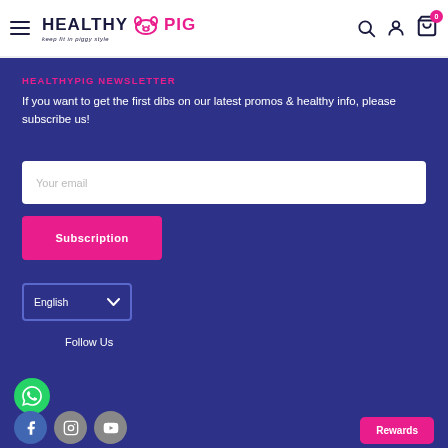[Figure (logo): HealthyPig logo with pig icon, tagline 'keep fit in piggy style']
HEALTHYPIG NEWSLETTER
If you want to get the first dibs on our latest promos & healthy info, please subscribe us!
Your email (input field)
Subscription (button)
English (language selector dropdown)
Follow Us
Rewards (button)